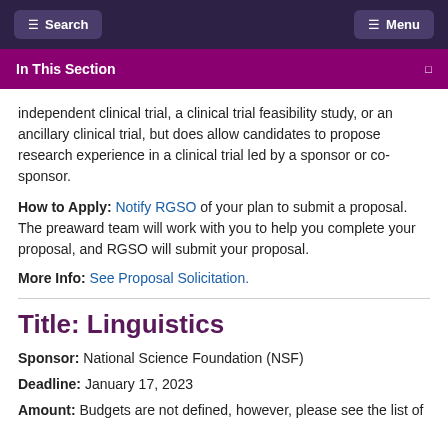Search  Menu
In This Section
independent clinical trial, a clinical trial feasibility study, or an ancillary clinical trial, but does allow candidates to propose research experience in a clinical trial led by a sponsor or co-sponsor.
How to Apply: Notify RGSO of your plan to submit a proposal. The preaward team will work with you to help you complete your proposal, and RGSO will submit your proposal.
More Info: See Proposal Solicitation.
Title: Linguistics
Sponsor: National Science Foundation (NSF)
Deadline: January 17, 2023
Amount: Budgets are not defined, however, please see the list of